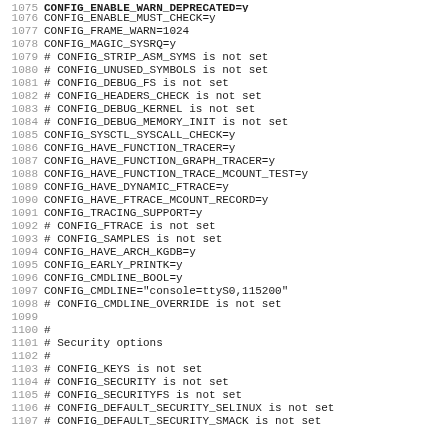1075 CONFIG_ENABLE_WARN_DEPRECATED=y
1076 CONFIG_ENABLE_MUST_CHECK=y
1077 CONFIG_FRAME_WARN=1024
1078 CONFIG_MAGIC_SYSRQ=y
1079 # CONFIG_STRIP_ASM_SYMS is not set
1080 # CONFIG_UNUSED_SYMBOLS is not set
1081 # CONFIG_DEBUG_FS is not set
1082 # CONFIG_HEADERS_CHECK is not set
1083 # CONFIG_DEBUG_KERNEL is not set
1084 # CONFIG_DEBUG_MEMORY_INIT is not set
1085 CONFIG_SYSCTL_SYSCALL_CHECK=y
1086 CONFIG_HAVE_FUNCTION_TRACER=y
1087 CONFIG_HAVE_FUNCTION_GRAPH_TRACER=y
1088 CONFIG_HAVE_FUNCTION_TRACE_MCOUNT_TEST=y
1089 CONFIG_HAVE_DYNAMIC_FTRACE=y
1090 CONFIG_HAVE_FTRACE_MCOUNT_RECORD=y
1091 CONFIG_TRACING_SUPPORT=y
1092 # CONFIG_FTRACE is not set
1093 # CONFIG_SAMPLES is not set
1094 CONFIG_HAVE_ARCH_KGDB=y
1095 CONFIG_EARLY_PRINTK=y
1096 CONFIG_CMDLINE_BOOL=y
1097 CONFIG_CMDLINE="console=ttyS0,115200"
1098 # CONFIG_CMDLINE_OVERRIDE is not set
1099
1100 #
1101 # Security options
1102 #
1103 # CONFIG_KEYS is not set
1104 # CONFIG_SECURITY is not set
1105 # CONFIG_SECURITYFS is not set
1106 # CONFIG_DEFAULT_SECURITY_SELINUX is not set
1107 # CONFIG_DEFAULT_SECURITY_SMACK is not set